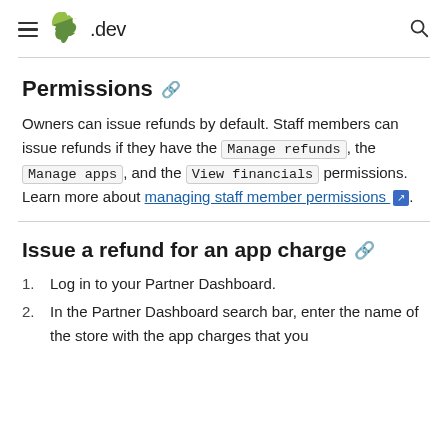≡  .dev  🔍
Permissions
Owners can issue refunds by default. Staff members can issue refunds if they have the Manage refunds, the Manage apps, and the View financials permissions. Learn more about managing staff member permissions.
Issue a refund for an app charge
1. Log in to your Partner Dashboard.
2. In the Partner Dashboard search bar, enter the name of the store with the app charges that you